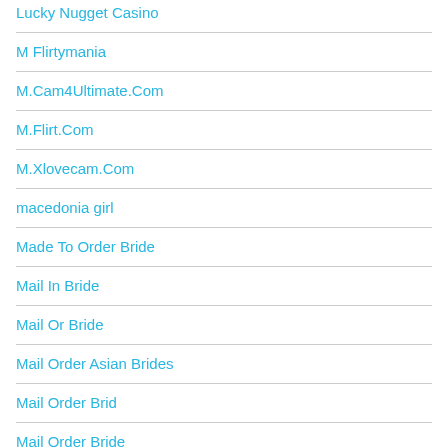Lucky Nugget Casino
M Flirtymania
M.Cam4Ultimate.Com
M.Flirt.Com
M.Xlovecam.Com
macedonia girl
Made To Order Bride
Mail In Bride
Mail Or Bride
Mail Order Asian Brides
Mail Order Brid
Mail Order Bride
Mail Order Bride Agency